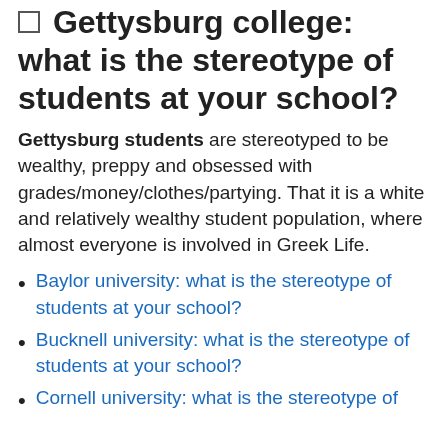Gettysburg college: what is the stereotype of students at your school?
Gettysburg students are stereotyped to be wealthy, preppy and obsessed with grades/money/clothes/partying. That it is a white and relatively wealthy student population, where almost everyone is involved in Greek Life.
Baylor university: what is the stereotype of students at your school?
Bucknell university: what is the stereotype of students at your school?
Cornell university: what is the stereotype of